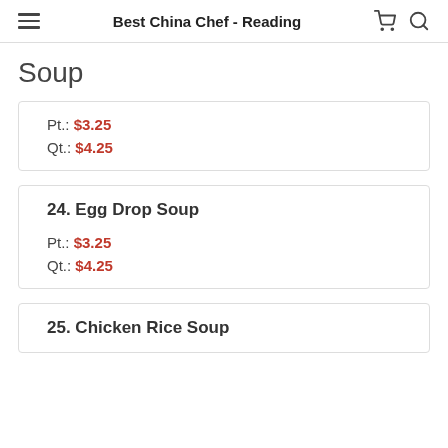Best China Chef - Reading
Soup
Pt.: $3.25
Qt.: $4.25
24. Egg Drop Soup
Pt.: $3.25
Qt.: $4.25
25. Chicken Rice Soup